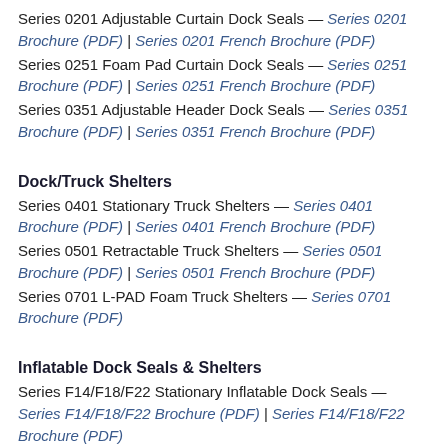Series 0201 Adjustable Curtain Dock Seals — Series 0201 Brochure (PDF) | Series 0201 French Brochure (PDF)
Series 0251 Foam Pad Curtain Dock Seals — Series 0251 Brochure (PDF) | Series 0251 French Brochure (PDF)
Series 0351 Adjustable Header Dock Seals — Series 0351 Brochure (PDF) | Series 0351 French Brochure (PDF)
Dock/Truck Shelters
Series 0401 Stationary Truck Shelters — Series 0401 Brochure (PDF) | Series 0401 French Brochure (PDF)
Series 0501 Retractable Truck Shelters — Series 0501 Brochure (PDF) | Series 0501 French Brochure (PDF)
Series 0701 L-PAD Foam Truck Shelters — Series 0701 Brochure (PDF)
Inflatable Dock Seals & Shelters
Series F14/F18/F22 Stationary Inflatable Dock Seals — Series F14/F18/F22 Brochure (PDF) | Series F14/F18/F22 Brochure (PDF)
Series V14/V18/V22 Inflatable Loading Dock Shelters —